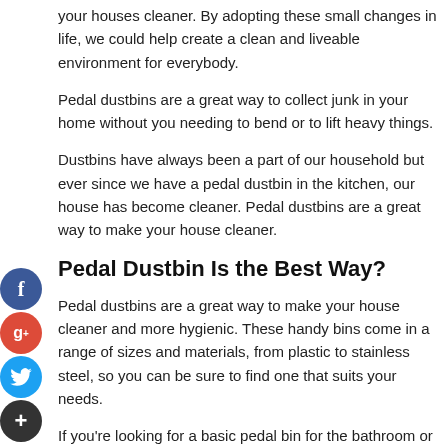your houses cleaner. By adopting these small changes in life, we could help create a clean and liveable environment for everybody.
Pedal dustbins are a great way to collect junk in your home without you needing to bend or to lift heavy things.
Dustbins have always been a part of our household but ever since we have a pedal dustbin in the kitchen, our house has become cleaner. Pedal dustbins are a great way to make your house cleaner.
Pedal Dustbin Is the Best Way?
Pedal dustbins are a great way to make your house cleaner and more hygienic. These handy bins come in a range of sizes and materials, from plastic to stainless steel, so you can be sure to find one that suits your needs.
If you're looking for a basic pedal bin for the bathroom or office, you'll probably want something small with a soft-close lid. This modest size is ideal for light use, but if you have a large family...